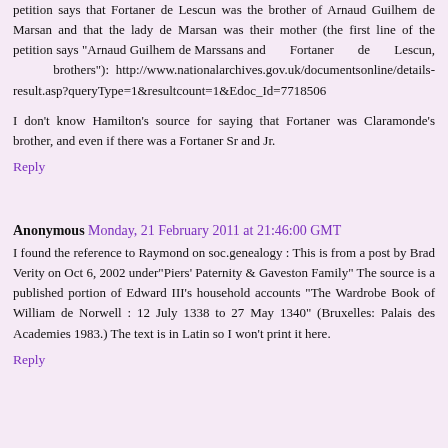petition says that Fortaner de Lescun was the brother of Arnaud Guilhem de Marsan and that the lady de Marsan was their mother (the first line of the petition says "Arnaud Guilhem de Marssans and Fortaner de Lescun, brothers"): http://www.nationalarchives.gov.uk/documentsonline/details-result.asp?queryType=1&resultcount=1&Edoc_Id=7718506
I don't know Hamilton's source for saying that Fortaner was Claramonde's brother, and even if there was a Fortaner Sr and Jr.
Reply
Anonymous Monday, 21 February 2011 at 21:46:00 GMT
I found the reference to Raymond on soc.genealogy : This is from a post by Brad Verity on Oct 6, 2002 under"Piers' Paternity & Gaveston Family" The source is a published portion of Edward III's household accounts "The Wardrobe Book of William de Norwell : 12 July 1338 to 27 May 1340" (Bruxelles: Palais des Academies 1983.) The text is in Latin so I won't print it here.
Reply